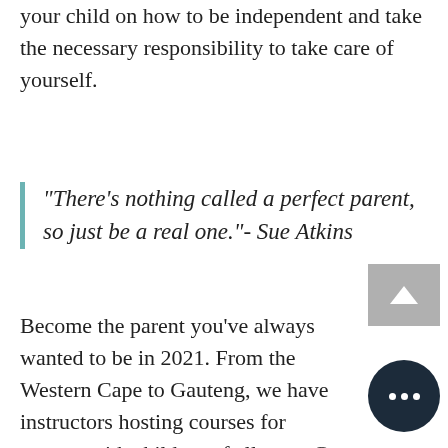your child on how to be independent and take the necessary responsibility to take care of yourself.
"There's nothing called a perfect parent, so just be a real one."- Sue Atkins
Become the parent you've always wanted to be in 2021. From the Western Cape to Gauteng, we have instructors hosting courses for parents with children of all ages. Get in touch or view our upcoming course calendar here: https://www.parents.co.za/upcoming-